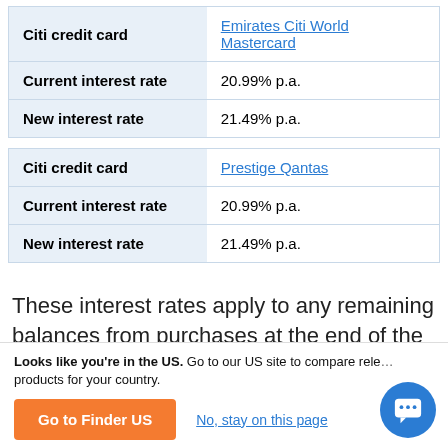| Citi credit card | Emirates Citi World Mastercard |
| --- | --- |
| Current interest rate | 20.99% p.a. |
| New interest rate | 21.49% p.a. |
| Citi credit card | Prestige Qantas |
| --- | --- |
| Current interest rate | 20.99% p.a. |
| New interest rate | 21.49% p.a. |
These interest rates apply to any remaining balances from purchases at the end of the statement period. If you pay your Citi card balance in full by the statement
Looks like you're in the US. Go to our US site to compare relevant products for your country.